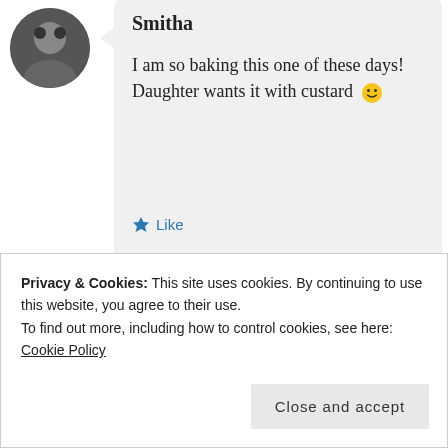[Figure (photo): Circular avatar photo of user Smitha, showing a person in dark clothing]
Smitha
I am so baking this one of these days! Daughter wants it with custard 🙂
★ Like
FEBRUARY 28, 2012 AT 12:33 AM
Privacy & Cookies: This site uses cookies. By continuing to use this website, you agree to their use.
To find out more, including how to control cookies, see here: Cookie Policy
Close and accept
She'll love it 🙂